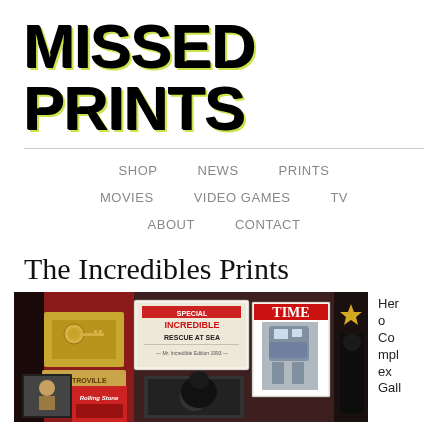MISSED PRINTS
SHOP   NEWS   PRINTS   MOVIES   VIDEO GAMES   TV   ABOUT   CONTACT
The Incredibles Prints
[Figure (photo): Photo showing a gallery wall filled with posters and prints including 'SPECIAL INCREDIBLE RESCUE AT SEA', 'TIME' magazine cover, and other memorabilia, with a silhouette of a person viewing the display]
Hero Complex Gall